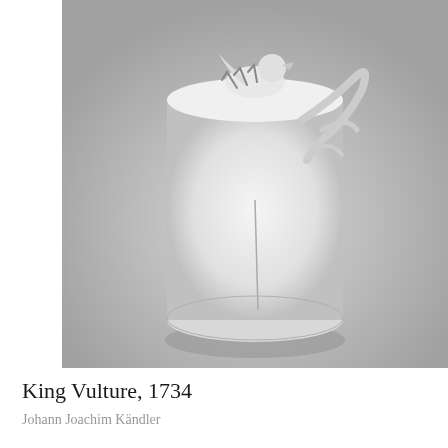[Figure (photo): Photograph of a white porcelain King Vulture sculpture from 1734, showing a cylindrical vessel with sculptural bird and branch decorations on top, photographed against a grey background.]
King Vulture, 1734
Johann Joachim Kändler
[Figure (photo): Partial view of a dark oil painting portrait of a young person with dark hair, wearing what appears to be a white collar, set against a dark atmospheric background with hints of green and grey tones.]